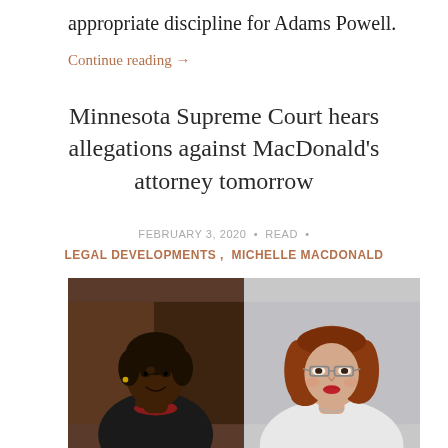appropriate discipline for Adams Powell.
Continue reading →
Minnesota Supreme Court hears allegations against MacDonald's attorney tomorrow
FEBRUARY 3, 2020 • READ •
LEGAL DEVELOPMENTS , MICHELLE MACDONALD
[Figure (photo): Two side-by-side photos: on the left, a dark-skinned woman with short hair in a dark jacket; on the right, a light-skinned woman with auburn shoulder-length hair and glasses wearing a white top.]